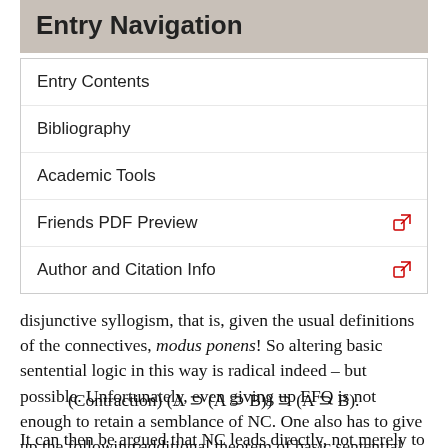Entry Navigation
Entry Contents
Bibliography
Academic Tools
Friends PDF Preview
Author and Citation Info
disjunctive syllogism, that is, given the usual definitions of the connectives, modus ponens! So altering basic sentential logic in this way is radical indeed – but possible. Unfortunately, even giving up EFQ is not enough to retain a semblance of NC. One also has to give up the following additional theorem of basic sentential logic:
It can then be argued that NC leads directly, not merely to an isolated contradiction, but to triviality. (For the